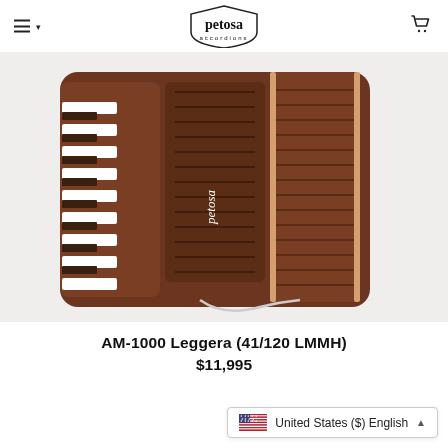petosa accordions
[Figure (photo): Close-up photo of a brown Petosa accordion (AM-1000 Leggera) showing the keyboard, bellows, and grille on a white background]
AM-1000 Leggera (41/120 LMMH)
$11,995
United States ($) English